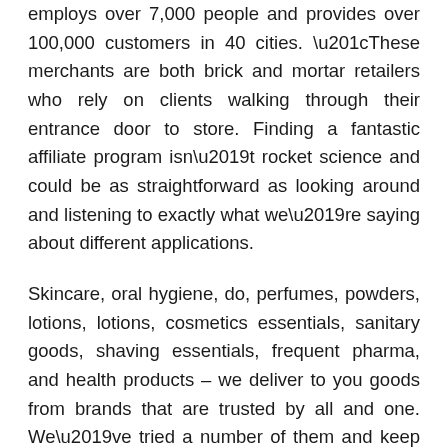employs over 7,000 people and provides over 100,000 customers in 40 cities. “These merchants are both brick and mortar retailers who rely on clients walking through their entrance door to store. Finding a fantastic affiliate program isn’t rocket science and could be as straightforward as looking around and listening to exactly what we’re saying about different applications.
Skincare, oral hygiene, do, perfumes, powders, lotions, lotions, cosmetics essentials, sanitary goods, shaving essentials, frequent pharma, and health products – we deliver to you goods from brands that are trusted by all and one. We’ve tried a number of them and keep reading to determine which one can be the right for you. You could realize that grocery delivery switching